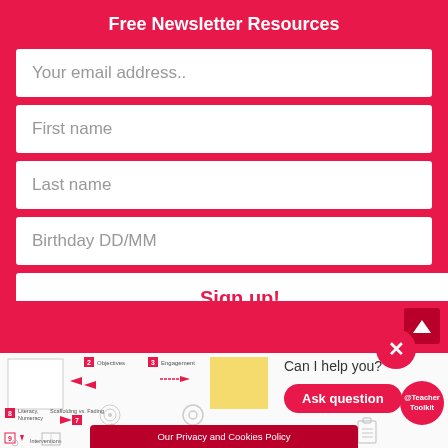Free Newsletter Resources
Your email address..
First name
Last name
Birthday DD/MM
Sign up!
[Figure (screenshot): Newsletter signup form overlay on a TeacherToolkit lesson plan diagram, with a close button, 'Can I help you?' chat prompt, Ask question button, @TeacherToolkit badge, and Our Privacy and Cookies Policy bar.]